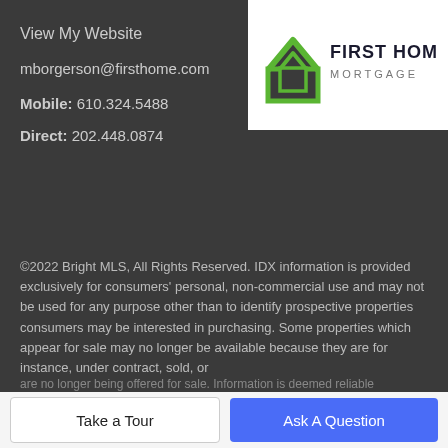[Figure (logo): First Home Mortgage logo with green house icon and text 'FIRST HOME MORTGAGE']
View My Website
mborgerson@firsthome.com
Mobile: 610.324.5488
Direct: 202.448.0874
©2022 Bright MLS, All Rights Reserved. IDX information is provided exclusively for consumers' personal, non-commercial use and may not be used for any purpose other than to identify prospective properties consumers may be interested in purchasing. Some properties which appear for sale may no longer be available because they are for instance, under contract, sold, or are no longer being offered for sale. Information is deemed reliable
Take a Tour
Ask A Question